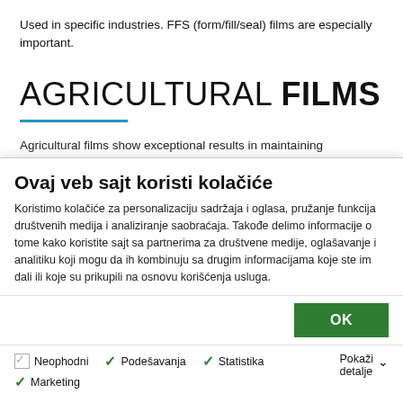Used in specific industries. FFS (form/fill/seal) films are especially important.
AGRICULTURAL FILMS
Agricultural films show exceptional results in maintaining
Ovaj veb sajt koristi kolačiće
Koristimo kolačiće za personalizaciju sadržaja i oglasa, pružanje funkcija društvenih medija i analiziranje saobraćaja. Takođe delimo informacije o tome kako koristite sajt sa partnerima za društvene medije, oglašavanje i analitiku koji mogu da ih kombinuju sa drugim informacijama koje ste im dali ili koje su prikupili na osnovu korišćenja usluga.
OK
Neophodni  Podešavanja  Statistika  Marketing  Pokaži detalje